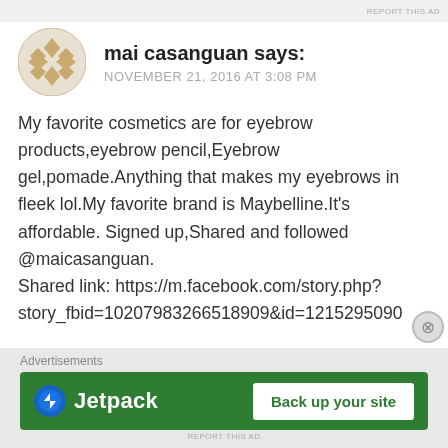REPORT THIS AD
[Figure (illustration): Circular avatar icon with geometric diamond/lattice pattern in tan/gold color]
mai casanguan says:
NOVEMBER 21, 2016 AT 3:08 PM
My favorite cosmetics are for eyebrow products,eyebrow pencil,Eyebrow gel,pomade.Anything that makes my eyebrows in fleek lol.My favorite brand is Maybelline.It's affordable. Signed up,Shared and followed @maicasanguan.
Shared link: https://m.facebook.com/story.php?story_fbid=102079832665 18909&id=1215295090
★ Liked by 1 person
Advertisements
[Figure (screenshot): Jetpack advertisement banner: green background with Jetpack logo on left and 'Back up your site' white button on right]